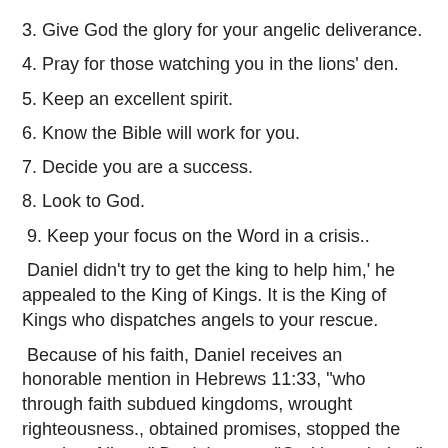3. Give God the glory for your angelic deliverance.
4. Pray for those watching you in the lions' den.
5. Keep an excellent spirit.
6. Know the Bible will work for you.
7. Decide you are a success.
8. Look to God.
9. Keep your focus on the Word in a crisis..
Daniel didn't try to get the king to help him,' he appealed to the King of Kings. It is the King of Kings who dispatches angels to your rescue.
Because of his faith, Daniel receives an honorable mention in Hebrews 11:33, "who through faith subdued kingdoms, wrought righteousness., obtained promises, stopped the mouths of lions." Daniel means "God is my judge." Put your trust in a righteous God who is .judge of all and He will send His